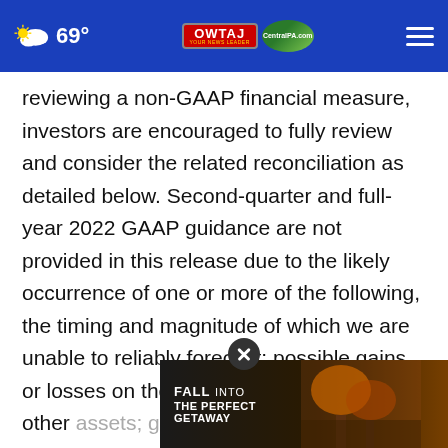69° WTAJ YOUR NEWS LEADER CentralPA.com
reviewing a non-GAAP financial measure, investors are encouraged to fully review and consider the related reconciliation as detailed below. Second-quarter and full-year 2022 GAAP guidance are not provided in this release due to the likely occurrence of one or more of the following, the timing and magnitude of which we are unable to reliably forecast: possible gains or losses on the sale of businesses or other assets; goodwill and long-lived asset impairment or other impairment-related charges; acquisition-related impairment charges; acquisition related
[Figure (screenshot): Advertisement banner for Pocono Mountains Fall getaway with 'FALL INTO THE PERFECT GETAWAY' text and 'BOOK NOW' button]